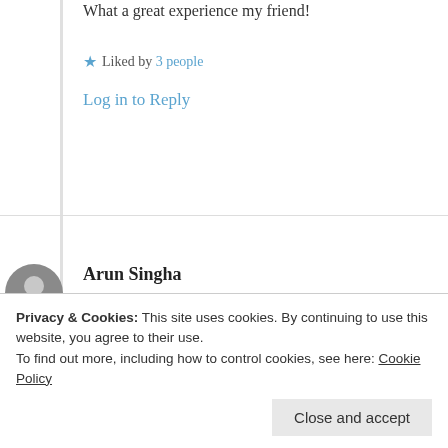What a great experience my friend!
★ Liked by 3 people
Log in to Reply
Arun Singha
12th Jul 2021 at 7:37 am
Excellent post! Must read for all.
Privacy & Cookies: This site uses cookies. By continuing to use this website, you agree to their use.
To find out more, including how to control cookies, see here: Cookie Policy
Close and accept